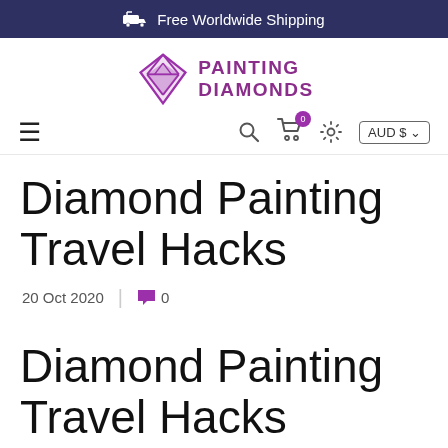Free Worldwide Shipping
[Figure (logo): Painting Diamonds logo with diamond gem icon in purple and brand name PAINTING DIAMONDS]
[Figure (screenshot): Navigation bar with hamburger menu, search icon, cart with 0 badge, gear icon, and AUD $ currency selector]
Diamond Painting Travel Hacks
20 Oct 2020 | 0
Diamond Painting Travel Hacks